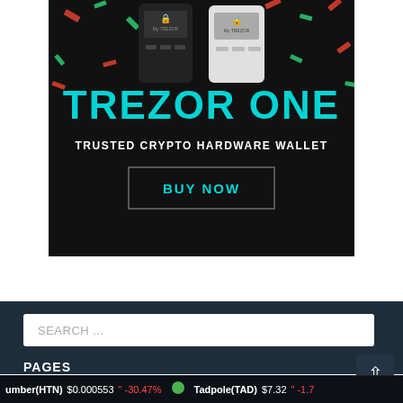[Figure (illustration): Trezor One advertisement banner showing two hardware wallets (black and white) on dark background with colorful confetti, text 'TREZOR ONE', 'TRUSTED CRYPTO HARDWARE WALLET', and a 'BUY NOW' button]
SEARCH ...
PAGES
umber(HTN)  $0.000553  " -30.47%    Tadpole(TAD)  $7.32  " -1.7